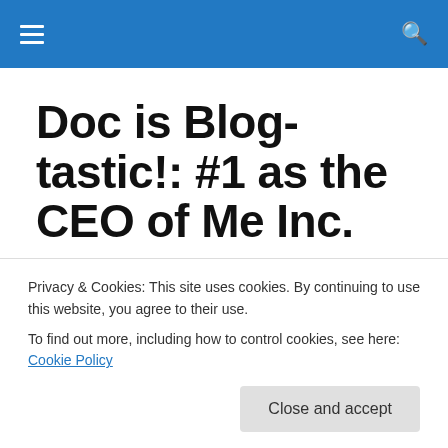Doc is Blog-tastic!: #1 as the CEO of Me Inc. — navigation header
Doc is Blog-tastic!: #1 as the CEO of Me Inc.
Celebrity POP – Social Buzz – Upbeat Vibe
DAILY ARCHIVES: DECEMBER 1, 2010
Lebron James Shooting for
Privacy & Cookies: This site uses cookies. By continuing to use this website, you agree to their use.
To find out more, including how to control cookies, see here: Cookie Policy
Close and accept